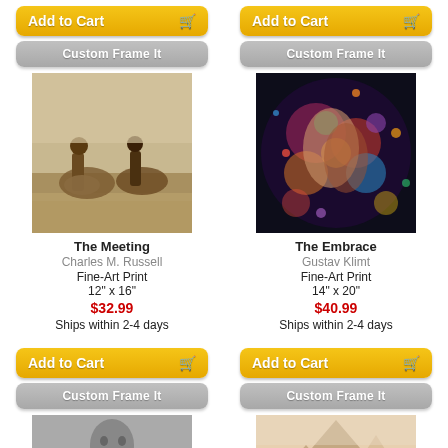[Figure (screenshot): Add to Cart yellow button with cart icon, left column]
[Figure (screenshot): Add to Cart yellow button with cart icon, right column]
[Figure (screenshot): Custom Frame It gray button, left column]
[Figure (screenshot): Custom Frame It gray button, right column]
[Figure (photo): The Meeting painting by Charles M. Russell - two horsemen meeting on plains]
[Figure (photo): The Embrace painting by Gustav Klimt - colorful swirling figures]
The Meeting
Charles M. Russell
Fine-Art Print
12" x 16"
$32.99
Ships within 2-4 days
The Embrace
Gustav Klimt
Fine-Art Print
14" x 20"
$40.99
Ships within 2-4 days
[Figure (screenshot): Add to Cart yellow button with cart icon, left column second row]
[Figure (screenshot): Add to Cart yellow button with cart icon, right column second row]
[Figure (screenshot): Custom Frame It gray button, left column second row]
[Figure (screenshot): Custom Frame It gray button, right column second row]
[Figure (photo): Black and white portrait photo of Abraham Lincoln]
[Figure (photo): Sepia/warm-toned mountain landscape illustration]